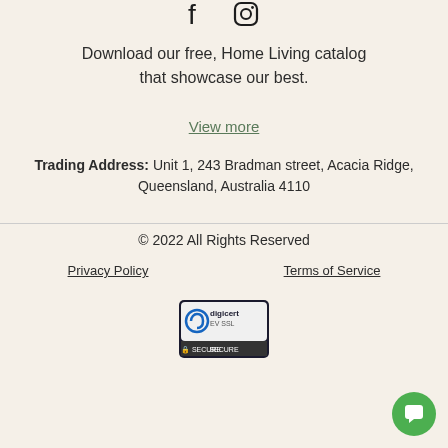[Figure (logo): Social media icons: Facebook and Instagram]
Download our free, Home Living catalog that showcase our best.
View more
Trading Address: Unit 1, 243 Bradman street, Acacia Ridge, Queensland, Australia 4110
© 2022 All Rights Reserved
Privacy Policy   Terms of Service
[Figure (logo): DigiCert EV SSL Secure badge]
[Figure (other): Green chat button in bottom right corner]